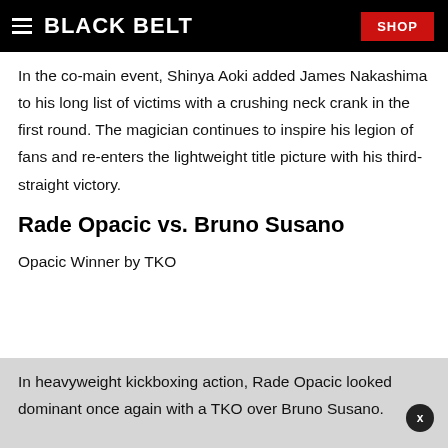BLACK BELT  SHOP
In the co-main event, Shinya Aoki added James Nakashima to his long list of victims with a crushing neck crank in the first round. The magician continues to inspire his legion of fans and re-enters the lightweight title picture with his third-straight victory.
Rade Opacic vs. Bruno Susano
Opacic Winner by TKO
In heavyweight kickboxing action, Rade Opacic looked dominant once again with a TKO over Bruno Susano.